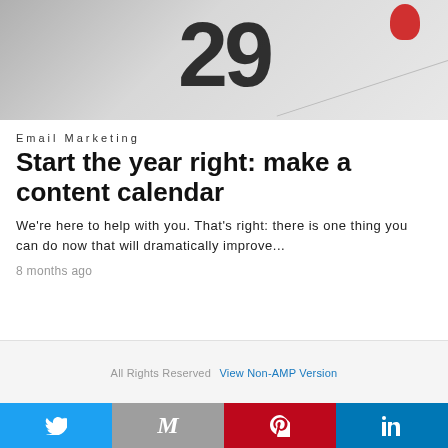[Figure (photo): Close-up photo of a calendar showing the number 29 in large black digits, with a red ring/marker at top right and a diagonal line across the image on a gray background.]
Email Marketing
Start the year right: make a content calendar
We're here to help with you. That's right: there is one thing you can do now that will dramatically improve...
8 months ago
All Rights Reserved  View Non-AMP Version
[Figure (infographic): Social sharing bar with four buttons: Twitter (blue), Gmail/Mail (gray), Pinterest (red), LinkedIn (blue)]